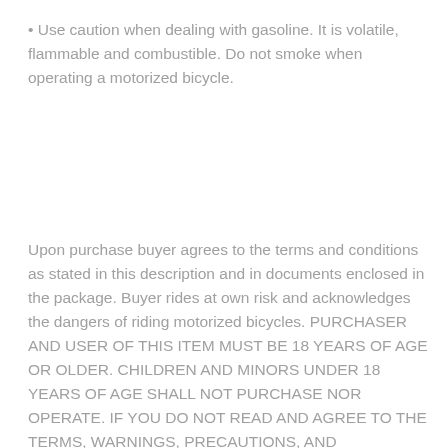Use caution when dealing with gasoline. It is volatile, flammable and combustible. Do not smoke when operating a motorized bicycle.
Upon purchase buyer agrees to the terms and conditions as stated in this description and in documents enclosed in the package. Buyer rides at own risk and acknowledges the dangers of riding motorized bicycles. PURCHASER AND USER OF THIS ITEM MUST BE 18 YEARS OF AGE OR OLDER. CHILDREN AND MINORS UNDER 18 YEARS OF AGE SHALL NOT PURCHASE NOR OPERATE. IF YOU DO NOT READ AND AGREE TO THE TERMS, WARNINGS, PRECAUTIONS, AND INSTRUCTIONS, INCLUDED IN THIS DESCRIPTION, THE INCLUDED DOCUMENTS,